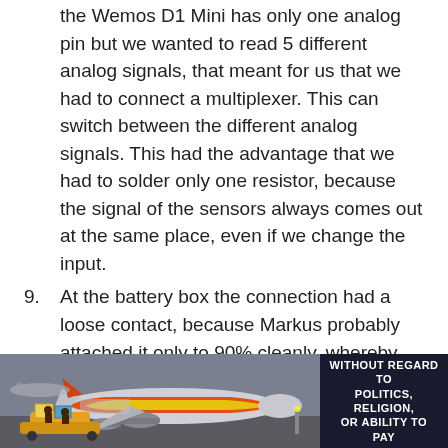the Wemos D1 Mini has only one analog pin but we wanted to read 5 different analog signals, that meant for us that we had to connect a multiplexer. This can switch between the different analog signals. This had the advantage that we had to solder only one resistor, because the signal of the sensors always comes out at the same place, even if we change the input.
9. At the battery box the connection had a loose contact, because Markus probably attached it only to 90% cleanly, whereby the servos got no more current. But we thought it was because of the board, went to Markus to get a new board and when we were back we noticed that it was because of the power supply.
10. Calculating the band in space with only data
[Figure (photo): Advertisement banner showing a cargo airplane being loaded, with text 'WITHOUT REGARD TO POLITICS, RELIGION, OR ABILITY TO PAY' on dark background]